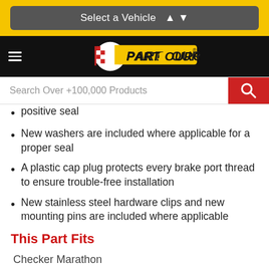Select a Vehicle
[Figure (logo): PartSource logo on black navigation bar with hamburger menu]
Search Over +100,000 Products
positive seal
New washers are included where applicable for a proper seal
A plastic cap plug protects every brake port thread to ensure trouble-free installation
New stainless steel hardware clips and new mounting pins are included where applicable
This Part Fits
Checker Marathon